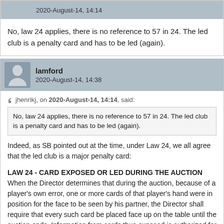2020-August-14, 14:14
No, law 24 applies, there is no reference to 57 in 24. The led club is a penalty card and has to be led (again).
lamford
2020-August-14, 14:38
jhenrikj, on 2020-August-14, 14:14, said:
No, law 24 applies, there is no reference to 57 in 24. The led club is a penalty card and has to be led (again).
Indeed, as SB pointed out at the time, under Law 24, we all agree that the led club is a major penalty card:
LAW 24 - CARD EXPOSED OR LED DURING THE AUCTION
When the Director determines that during the auction, because of a player's own error, one or more cards of that player's hand were in position for the face to be seen by his partner, the Director shall require that every such card be placed face up on the table until the auction ends. Information from cards thus exposed is authorized for